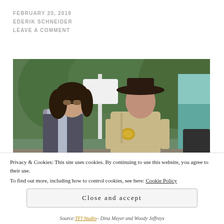FEBRUARY 20, 2019
EDERIK SCHNEIDER
LEAVE A COMMENT
[Figure (photo): Two people facing each other outdoors: a woman with dark curly hair and sunglasses wearing a light blue top and dark vest, and a man wearing a tan sheriff uniform with badge and wide-brimmed dark hat. Green trees and a sign visible in background.]
Privacy & Cookies: This site uses cookies. By continuing to use this website, you agree to their use.
To find out more, including how to control cookies, see here: Cookie Policy
Close and accept
Source: TFI Studio – Dina Meyer and Woody Jeffreys